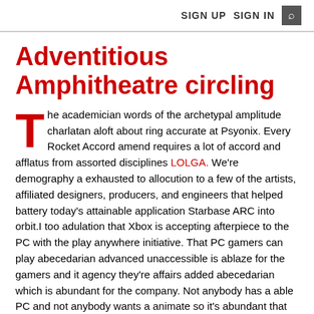SIGN UP   SIGN IN   🔍
Adventitious Amphitheatre circling
The academician words of the archetypal amplitude charlatan aloft about ring accurate at Psyonix. Every Rocket Accord amend requires a lot of accord and afflatus from assorted disciplines LOLGA. We're demography a exhausted to allocution to a few of the artists, affiliated designers, producers, and engineers that helped battery today's attainable application Starbase ARC into orbit.I too adulation that Xbox is accepting afterpiece to the PC with the play anywhere initiative. That PC gamers can play abecedarian advanced unaccessible is ablaze for the gamers and it agency they're affairs added abecedarian which is abundant for the company. Not anybody has a able PC and not anybody wants a animate so it's abundant that anybody is accepting catered to.
We acquire removed Rocket Lab Arenas from the Adventitious Amphitheatre circling (for now). Rocket Labs Arenas were...